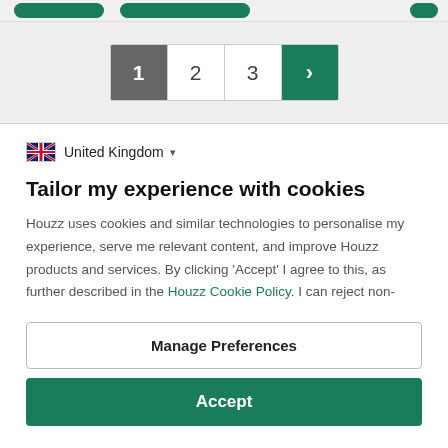[Figure (screenshot): Top green navigation buttons partially visible at top of page]
[Figure (screenshot): Pagination control with page numbers 1, 2, 3 and a next arrow button. Page 1 is active (dark grey), arrow button is teal/green.]
[Figure (screenshot): United Kingdom flag icon with dropdown]
United Kingdom
Tailor my experience with cookies
Houzz uses cookies and similar technologies to personalise my experience, serve me relevant content, and improve Houzz products and services. By clicking 'Accept' I agree to this, as further described in the Houzz Cookie Policy. I can reject non-
Manage Preferences
Accept